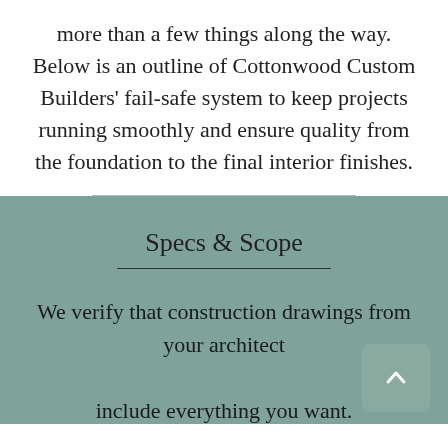more than a few things along the way. Below is an outline of Cottonwood Custom Builders' fail-safe system to keep projects running smoothly and ensure quality from the foundation to the final interior finishes.
Specs & Scope
We verify that construction drawings from your architect include everything you want.